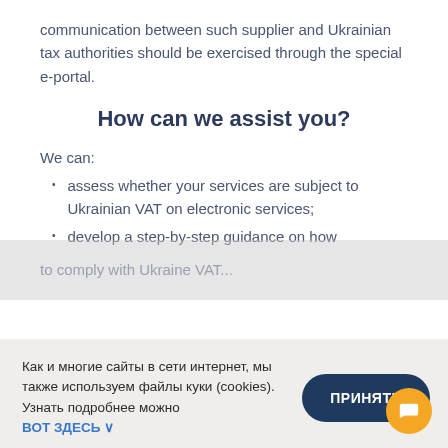communication between such supplier and Ukrainian tax authorities should be exercised through the special e-portal.
How can we assist you?
We can:
assess whether your services are subject to Ukrainian VAT on electronic services;
develop a step-by-step guidance on how to comply with Ukraine VAT
Как и многие сайты в сети интернет, мы также используем файлы куки (cookies). Узнать подробнее можно
ВОТ ЗДЕСЬ ∨